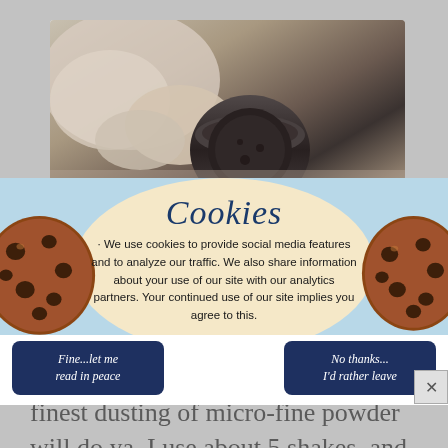[Figure (photo): A hand holding a dark jar or container, viewed from above on a light wooden surface. The photo is partially visible in the upper portion of the page behind a cookie consent banner.]
[Figure (infographic): Cookie consent banner with light blue background, cream oval shape in center, chocolate chip cookie illustrations on left and right sides. Contains title 'Cookies' in script font, informational text, and two dark navy buttons.]
Cookies
We use cookies to provide social media features and to analyze our traffic. We also share information about your use of our site with our analytics partners. Your continued use of our site implies you agree to this.
Fine...let me read in peace
No thanks... I'd rather leave
And when I say tiny, I mean the finest dusting of micro-fine powder will do ya. I use about 5 shakes, and then stir and taste until I achieve a decent